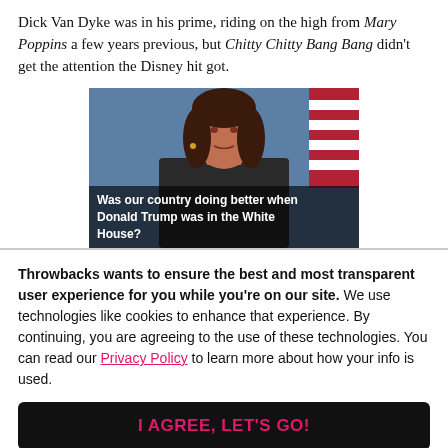Dick Van Dyke was in his prime, riding on the high from Mary Poppins a few years previous, but Chitty Chitty Bang Bang didn't get the attention the Disney hit got.
[Figure (photo): Photo of a woman speaking at a podium in front of an American flag and a blue background, with an overlay text caption reading 'Was our country doing better when Donald Trump was in the White House?']
Throwbacks wants to ensure the best and most transparent user experience for you while you're on our site. We use technologies like cookies to enhance that experience. By continuing, you are agreeing to the use of these technologies. You can read our Privacy Policy to learn more about how your info is used.
I AGREE, LET'S GO!